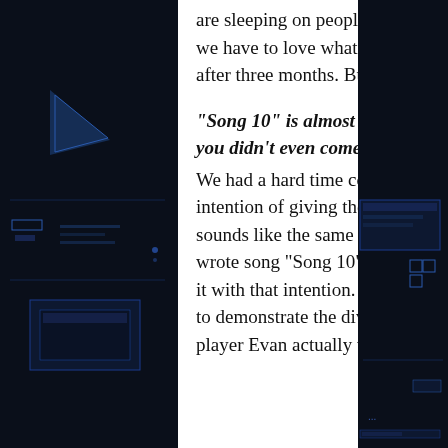are sleeping on people's floors and crashing wherever we can. A band like us, it reminds us we have to love what we are doing. Not sleeping in your own bed every night, can get old after three months. But we love what we are doing so it doesn't even bother us.
“Song 10” is almost an indie rock song, swaying with melody. Such a different song, you didn’t even come up with a title, just calling it “Song 10”?
We had a hard time coming up with a title that really fit. The song was written with the intention of giving the album a listenable finish from start to finish. A lot of heavy albums, sounds like the same songs for 12 tracks. So we really wanted to break up the CD. We wrote song “Song 10” as, “Ok, the 10th song, we want to have a different feel”. We wrote it with that intention. So we thought the best name for it was “Song 10”. I think we wanted to demonstrate the diversity of the band. All of us listen to such different music. Our guitar player Evan actually wrote that song. It’s written as more